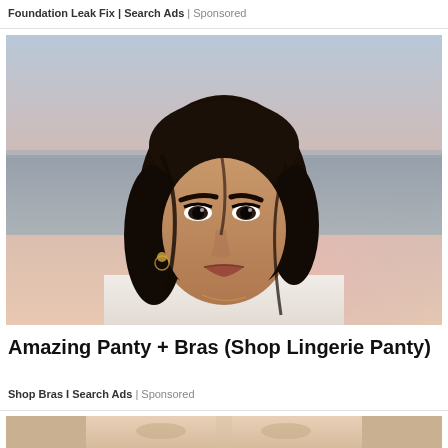Foundation Leak Fix | Search Ads | Sponsored
[Figure (photo): Portrait photo of a young woman with dark shoulder-length hair, heavy makeup, wearing white, photographed outdoors near the sea at dusk with pink/blue sky background.]
Amazing Panty + Bras (Shop Lingerie Panty)
Shop Bras I Search Ads | Sponsored
[Figure (photo): Close-up partial photo of a woman's face, cropped at the bottom of the page showing eyes, nose and cheeks with fair skin and blonde hair.]